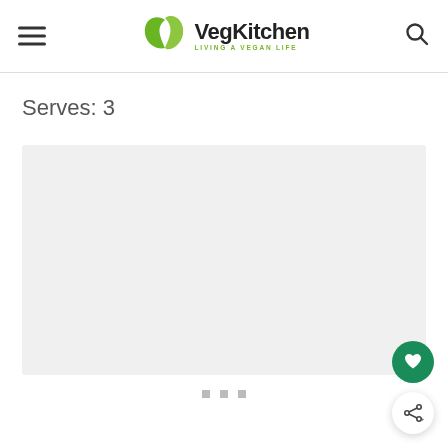VegKitchen — LIVING A VEGAN LIFE
Serves: 3
[Figure (photo): Light grey rectangular placeholder area for a food/recipe photo]
...